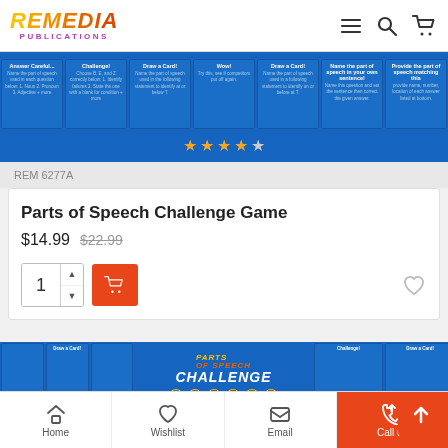REMEDIA PUBLICATIONS
[Figure (photo): Parts of Speech Challenge Game card spread on blue background with star rating (4 out of 5 stars)]
REM 6277A
Parts of Speech Challenge Game
$14.99  $22.99
[Figure (screenshot): Parts of Speech Challenge Game board game showing card categories and colorful circles with player tokens]
Home  Wishlist  Email  Call us